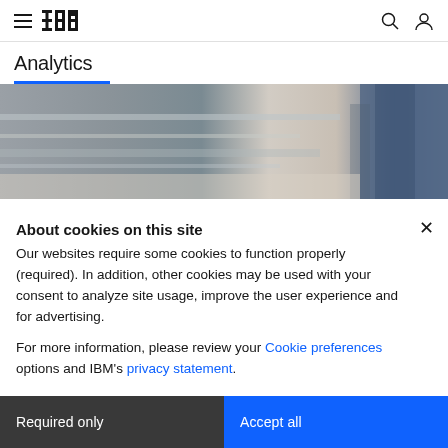IBM Analytics — navigation bar with hamburger menu, IBM logo, search and user icons
Analytics
[Figure (photo): Hero image showing a blurred office/warehouse scene with a person in jeans visible on the right side]
IBM Watson Studio
About cookies on this site
Our websites require some cookies to function properly (required). In addition, other cookies may be used with your consent to analyze site usage, improve the user experience and for advertising.

For more information, please review your Cookie preferences options and IBM's privacy statement.
Required only
Accept all